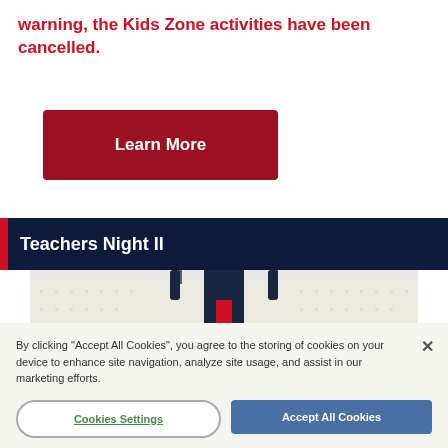warning, the Kids Zone activities have been cancelled.
Learn More
Teachers Night II
[Figure (photo): A white perforated tote bag with navy blue handles and a red and navy vertical stripe accent in the center.]
By clicking “Accept All Cookies”, you agree to the storing of cookies on your device to enhance site navigation, analyze site usage, and assist in our marketing efforts.
Cookies Settings
Accept All Cookies